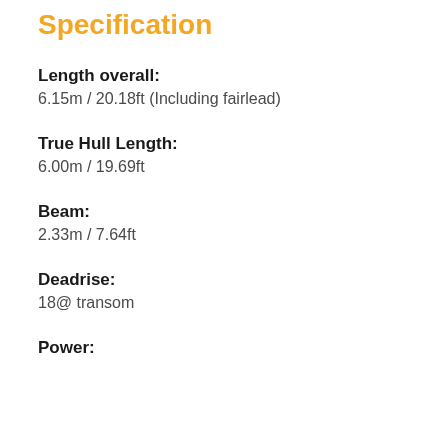Specification
Length overall:
6.15m / 20.18ft (Including fairlead)
True Hull Length:
6.00m / 19.69ft
Beam:
2.33m / 7.64ft
Deadrise:
18@ transom
Power: